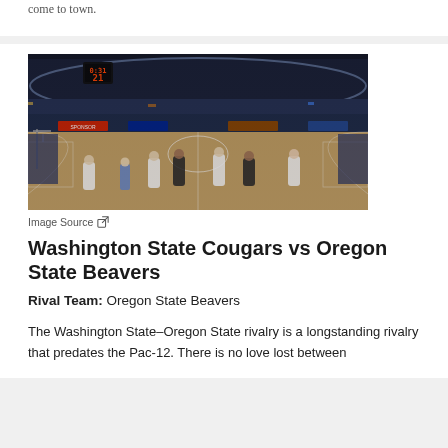come to town.
[Figure (photo): Basketball game in a large arena, players on the court, scoreboard visible showing 21, large crowd in the stands.]
Image Source
Washington State Cougars vs Oregon State Beavers
Rival Team: Oregon State Beavers
The Washington State–Oregon State rivalry is a longstanding rivalry that predates the Pac-12. There is no love lost between